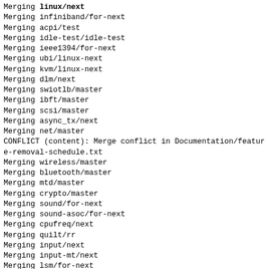Merging linux/next
Merging infiniband/for-next
Merging acpi/test
Merging idle-test/idle-test
Merging ieee1394/for-next
Merging ubi/linux-next
Merging kvm/linux-next
Merging dlm/next
Merging swiotlb/master
Merging ibft/master
Merging scsi/master
Merging async_tx/next
Merging net/master
CONFLICT (content): Merge conflict in Documentation/feature-removal-schedule.txt
Merging wireless/master
Merging bluetooth/master
Merging mtd/master
Merging crypto/master
Merging sound/for-next
Merging sound-asoc/for-next
Merging cpufreq/next
Merging quilt/rr
Merging input/next
Merging input-mt/next
Merging lsm/for-next
Merging block/for-next
Merging quilt/device-mapper
Merging embedded/master
Merging firmware/master
Merging pcmcia/master